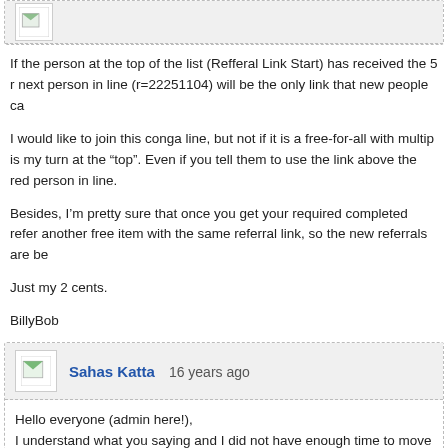If the person at the top of the list (Refferal Link Start) has received the 5 r next person in line (r=22251104) will be the only link that new people ca
I would like to join this conga line, but not if it is a free-for-all with multip is my turn at the "top". Even if you tell them to use the link above the red person in line.
Besides, I'm pretty sure that once you get your required completed refer another free item with the same referral link, so the new referrals are be
Just my 2 cents.
BillyBob
Sahas Katta    16 years ago
Hello everyone (admin here!),
I understand what you saying and I did not have enough time to move t it is suppost to work. This will work as you decribed by the first link recivi unit per link and house hold so don't worry. Any ways thanks for your co
-SK